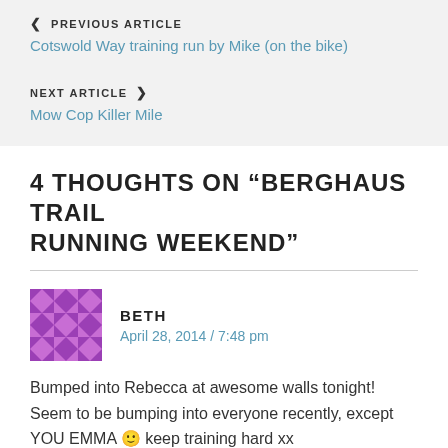PREVIOUS ARTICLE
Cotswold Way training run by Mike (on the bike)
NEXT ARTICLE
Mow Cop Killer Mile
4 THOUGHTS ON "BERGHAUS TRAIL RUNNING WEEKEND"
BETH
April 28, 2014 / 7:48 pm
Bumped into Rebecca at awesome walls tonight! Seem to be bumping into everyone recently, except YOU EMMA 🙂 keep training hard xx
Like